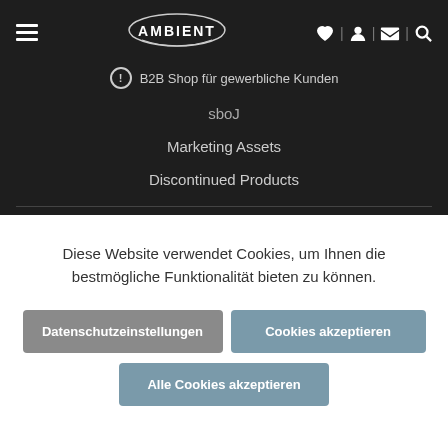[Figure (logo): AMBIENT logo in white text with oval accent on dark background]
B2B Shop für gewerbliche Kunden
Jobs
Marketing Assets
Discontinued Products
Diese Website verwendet Cookies, um Ihnen die bestmögliche Funktionalität bieten zu können.
Datenschutzeinstellungen
Cookies akzeptieren
Alle Cookies akzeptieren